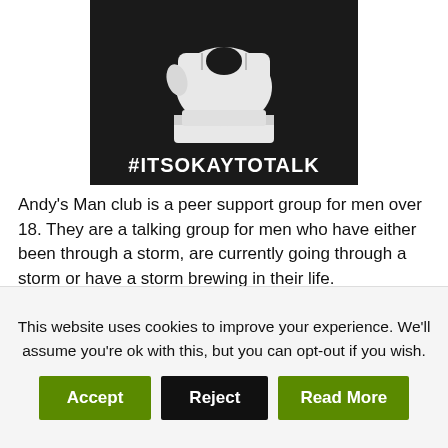[Figure (illustration): Dark background image with a raised fist holding something, with the hashtag #ITSOKAYTOTALK in white bold text below the fist]
Andy's Man club is a peer support group for men over 18. They are a talking group for men who have either been through a storm, are currently going through a storm or have a storm brewing in their life.
The meet online and face to face every Monday night 7
This website uses cookies to improve your experience. We'll assume you're ok with this, but you can opt-out if you wish.